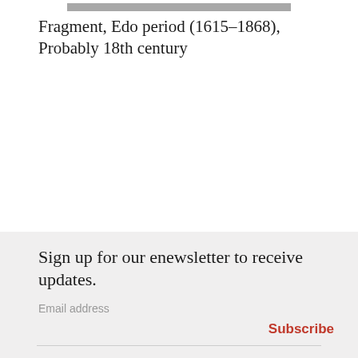[Figure (other): Partial image bar at top of page, cropped gray/image strip]
Fragment, Edo period (1615–1868), Probably 18th century
Sign up for our enewsletter to receive updates.
Email address
Subscribe